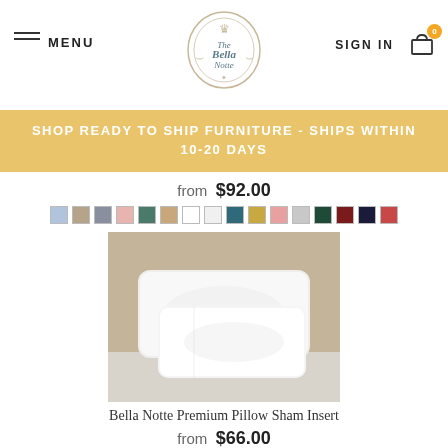MENU | Bella Notte logo | SIGN IN | Cart (0)
SHOP READY TO SHIP FURNITURE - SHIPS WITHIN 10-20 DAYS
from $92.00
[Figure (other): Color swatch palette with approximately 15 color squares including light blue, beige, gray, blush pink, teal, tan, white, light gray, dark teal, gold, pink, light gray, dark green, burgundy, navy, coral]
[Figure (photo): Two white pillow sham inserts stacked on a bed with neutral background]
Bella Notte Premium Pillow Sham Insert
from $66.00